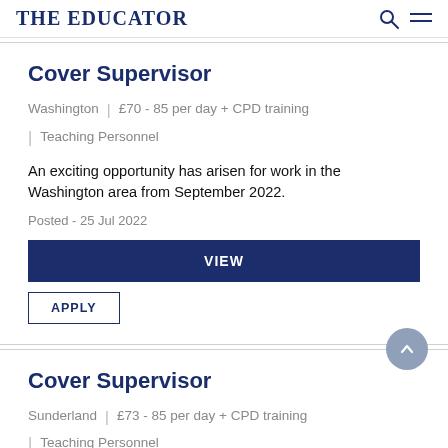THE EDUCATOR
Cover Supervisor
Washington  |  £70 - 85 per day + CPD training  |  Teaching Personnel
An exciting opportunity has arisen for work in the Washington area from September 2022.
Posted - 25 Jul 2022
VIEW
APPLY
Cover Supervisor
Sunderland  |  £73 - 85 per day + CPD training  |  Teaching Personnel